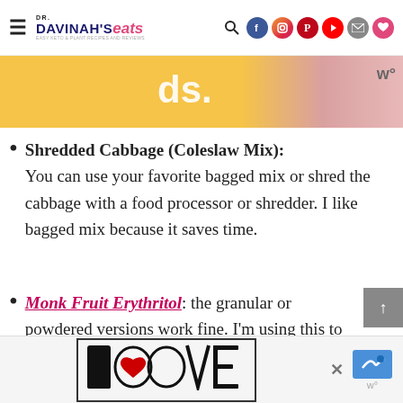DR. DAVINAH'S eats
[Figure (screenshot): Partial banner image with yellow/golden background, partially showing text and a pink section, with a 'w' badge on the right]
Shredded Cabbage (Coleslaw Mix): You can use your favorite bagged mix or shred the cabbage with a food processor or shredder. I like bagged mix because it saves time.
Monk Fruit Erythritol: the granular or powdered versions work fine. I'm using this to add sweetness. It's also a 1:1 substitute for regular sugar.
[Figure (logo): LOOVE stylized love logo advertisement at the bottom of the page]